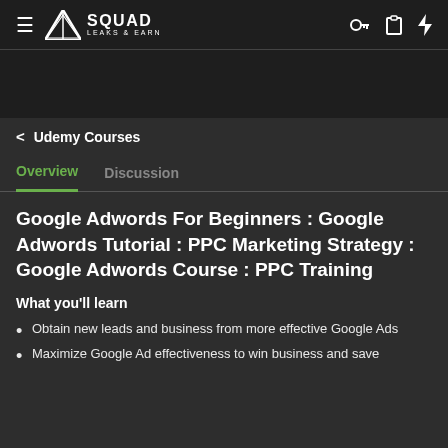Squad Leaks & Earn — navigation header with hamburger menu, logo, and icons
< Udemy Courses
Overview  Discussion
Google Adwords For Beginners : Google Adwords Tutorial : PPC Marketing Strategy : Google Adwords Course : PPC Training
What you'll learn
Obtain new leads and business from more effective Google Ads
Maximize Google Ad effectiveness to win business and save